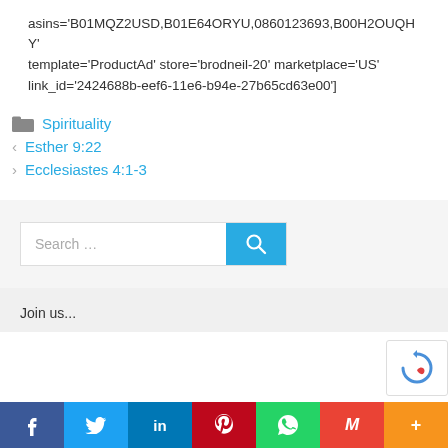asins='B01MQZ2USD,B01E64ORYU,0860123693,B00H2OUQHY' template='ProductAd' store='brodneil-20' marketplace='US' link_id='2424688b-eef6-11e6-b94e-27b65cd63e00']
Spirituality
< Esther 9:22
> Ecclesiastes 4:1-3
Search ...
Join us...
f | Twitter | in | P | WhatsApp | M | +